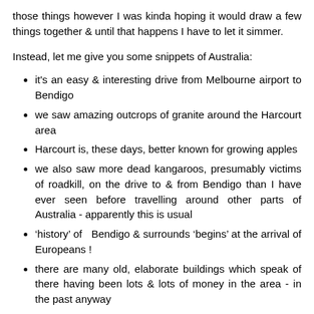those things however I was kinda hoping it would draw a few things together & until that happens I have to let it simmer.
Instead, let me give you some snippets of Australia:
it's an easy & interesting drive from Melbourne airport to Bendigo
we saw amazing outcrops of granite around the Harcourt area
Harcourt is, these days, better known for growing apples
we also saw more dead kangaroos, presumably victims of roadkill, on the drive to & from Bendigo than I have ever seen before travelling around other parts of Australia - apparently this is usual
‘history’ of  Bendigo & surrounds ‘begins’ at the arrival of Europeans !
there are many old, elaborate buildings which speak of there having been lots & lots of money in the area - in the past anyway
there is a ‘high grade, low cost’ underground gold mine located